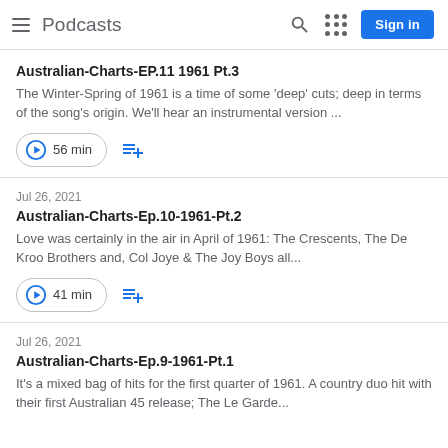Podcasts
Australian-Charts-EP.11 1961 Pt.3
The Winter-Spring of 1961 is a time of some 'deep' cuts; deep in terms of the song's origin. We'll hear an instrumental version ...
56 min
Jul 26, 2021
Australian-Charts-Ep.10-1961-Pt.2
Love was certainly in the air in April of 1961: The Crescents, The De Kroo Brothers and, Col Joye & The Joy Boys all...
41 min
Jul 26, 2021
Australian-Charts-Ep.9-1961-Pt.1
It's a mixed bag of hits for the first quarter of 1961. A country duo hit with their first Australian 45 release; The Le Garde...